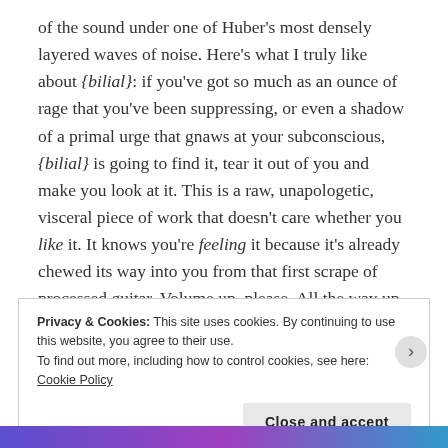of the sound under one of Huber's most densely layered waves of noise. Here's what I truly like about {bilial}: if you've got so much as an ounce of rage that you've been suppressing, or even a shadow of a primal urge that gnaws at your subconscious, {bilial} is going to find it, tear it out of you and make you look at it. This is a raw, unapologetic, visceral piece of work that doesn't care whether you like it. It knows you're feeling it because it's already chewed its way into you from that first scrape of processed guitar. Volume up, please. All the way up.
Privacy & Cookies: This site uses cookies. By continuing to use this website, you agree to their use.
To find out more, including how to control cookies, see here: Cookie Policy